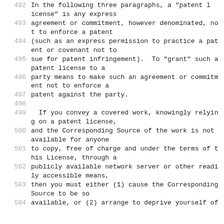492   In the following three paragraphs, a "patent license" is any express
493   agreement or commitment, however denominated, not to enforce a patent
494   (such as an express permission to practice a patent or covenant not to
495   sue for patent infringement).  To "grant" such a patent license to a
496   party means to make such an agreement or commitment not to enforce a
497   patent against the party.
498
499     If you convey a covered work, knowingly relying on a patent license,
500   and the Corresponding Source of the work is not available for anyone
501   to copy, free of charge and under the terms of this License, through a
502   publicly available network server or other readily accessible means,
503   then you must either (1) cause the Corresponding Source to be so
504   available, or (2) arrange to deprive yourself of